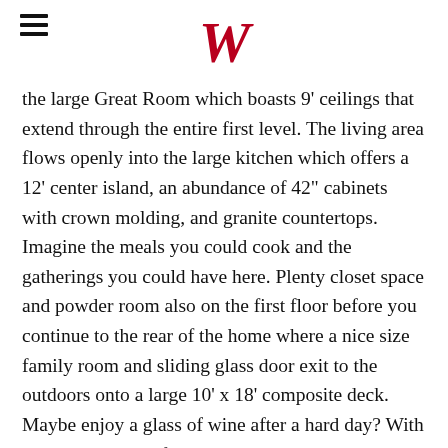W
the large Great Room which boasts 9' ceilings that extend through the entire first level. The living area flows openly into the large kitchen which offers a 12' center island, an abundance of 42" cabinets with crown molding, and granite countertops. Imagine the meals you could cook and the gatherings you could have here. Plenty closet space and powder room also on the first floor before you continue to the rear of the home where a nice size family room and sliding glass door exit to the outdoors onto a large 10' x 18' composite deck. Maybe enjoy a glass of wine after a hard day? With the two-bedroom floor plan, the primary bedroom is located on the second floor with walk-in closet as well as additional double closets. The primary bathroom is fitted with a double-sink vanity, relaxing tiled